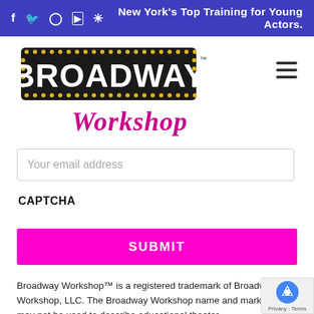New York's Top Training for Young Actors.
[Figure (logo): Broadway Workshop logo with marquee-style letters and pink cursive 'Workshop' text]
Your email address
CAPTCHA
SUBMIT
Broadway Workshop™ is a registered trademark of Broadway Workshop, LLC. The Broadway Workshop name and mark may not be used to describe educational theater